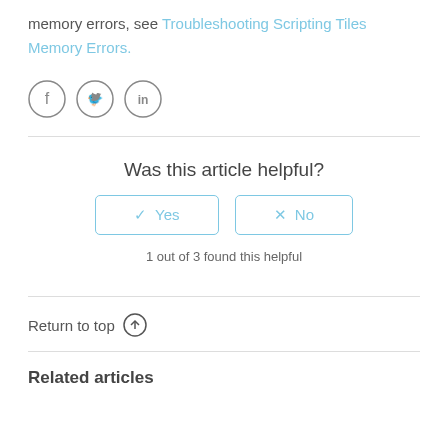memory errors, see Troubleshooting Scripting Tiles Memory Errors.
[Figure (other): Social media share icons: Facebook, Twitter, LinkedIn]
Was this article helpful?
1 out of 3 found this helpful
Return to top
Related articles